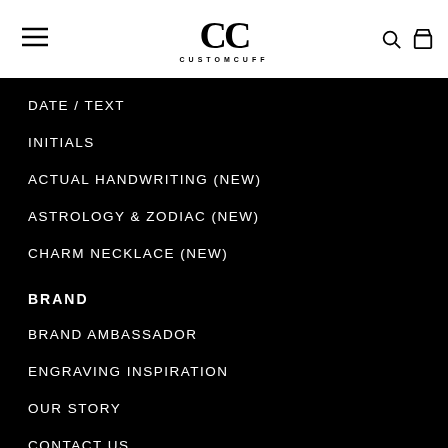[Figure (logo): CustomCuff logo with CC letters and CUSTOMCUFF wordmark]
DATE / TEXT
INITIALS
ACTUAL HANDWRITING (NEW)
ASTROLOGY & ZODIAC (NEW)
CHARM NECKLACE (NEW)
BRAND
BRAND AMBASSADOR
ENGRAVING INSPIRATION
OUR STORY
CONTACT US